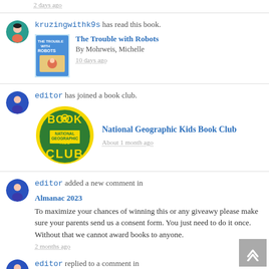2 days ago
kruzingwithk9s has read this book. The Trouble with Robots By Mohrweis, Michelle 10 days ago
editor has joined a book club. National Geographic Kids Book Club About 1 month ago
editor added a new comment in Almanac 2023. To maximize your chances of winning this or any giveawy please make sure your parents send us a consent form. You just need to do it once. Without that we cannot award books to anyone. 2 months ago
editor replied to a comment in